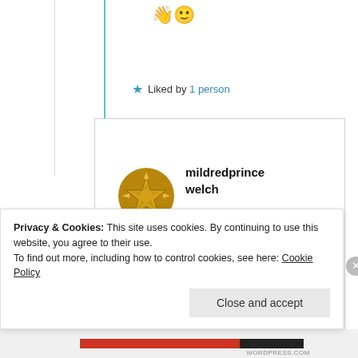[Figure (other): Emoji row: thumbs up and smiley face emoji]
★ Liked by 1 person
[Figure (illustration): Gold star/compass rose avatar icon for user mildredprincewelch]
mildredprince welch
4th Mar 2021 at 1:38 am
A good fit to produce
Privacy & Cookies: This site uses cookies. By continuing to use this website, you agree to their use.
To find out more, including how to control cookies, see here: Cookie Policy
Close and accept